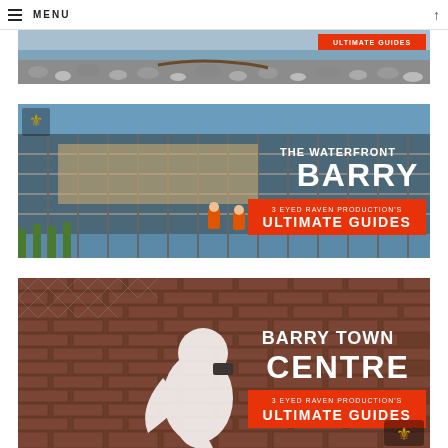MENU
[Figure (photo): Top banner image showing a rocky beach with pebbles and driftwood, with a red 'ULTIMATE GUIDES' badge in the top right corner]
[Figure (photo): Construction/scaffolding waterfront photo with text overlay: 'THE WATERFRONT BARRY' and '3 EYED RAVEN PRODUCTION'S ULTIMATE GUIDES' on red badge, plus a logo in top left]
[Figure (photo): Brick wall with street art graffiti bird/figure, with text overlay: 'BARRY TOWN CENTRE' and '3 EYED RAVEN PRODUCTION'S ULTIMATE GUIDES' on red badge, logo bottom right]